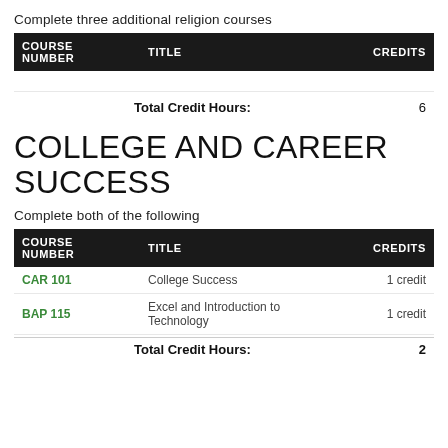Complete three additional religion courses
| COURSE NUMBER | TITLE | CREDITS |
| --- | --- | --- |
Total Credit Hours: 6
COLLEGE AND CAREER SUCCESS
Complete both of the following
| COURSE NUMBER | TITLE | CREDITS |
| --- | --- | --- |
| CAR 101 | College Success | 1 credit |
| BAP 115 | Excel and Introduction to Technology | 1 credit |
Total Credit Hours: 2